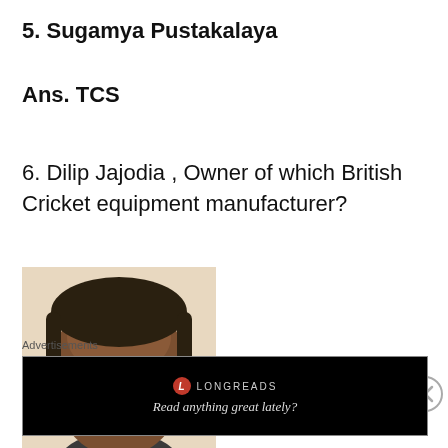5. Sugamya Pustakalaya
Ans. TCS
6. Dilip Jajodia , Owner of which British Cricket equipment manufacturer?
[Figure (photo): Headshot photograph of Dilip Jajodia, a middle-aged man smiling, against a light beige background]
Advertisements
[Figure (screenshot): Advertisement banner for Longreads with text: Read anything great lately?]